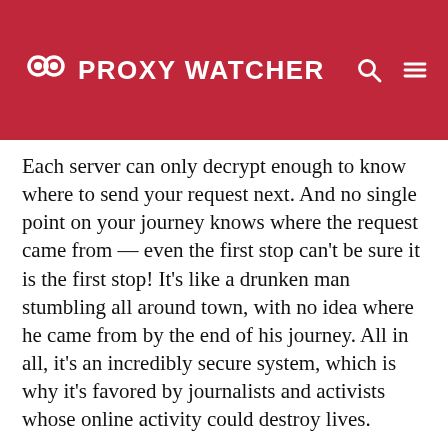PROXY WATCHER
Each server can only decrypt enough to know where to send your request next. And no single point on your journey knows where the request came from — even the first stop can't be sure it is the first stop! It's like a drunken man stumbling all around town, with no idea where he came from by the end of his journey. All in all, it's an incredibly secure system, which is why it's favored by journalists and activists whose online activity could destroy lives.
By proxyreview
10 months ago